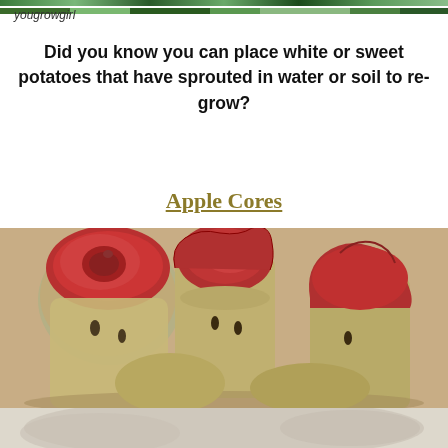[Figure (photo): Thin strip of green garden/nature photo at top of page]
yougrowgirl
Did you know you can place white or sweet potatoes that have sprouted in water or soil to re-grow?
Apple Cores
[Figure (photo): Close-up photo of several red apple cores on a light surface]
[Figure (photo): Partial bottom image, light colored, possibly more food/nature content]